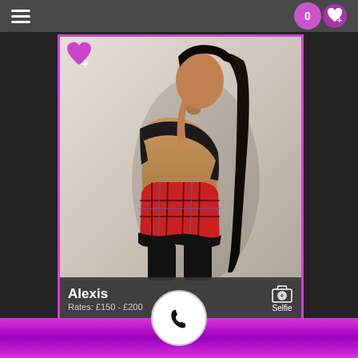Navigation menu and favorites counter (0)
[Figure (photo): Profile photo of Alexis, a young woman posing with her back partly turned, wearing a black crop top and red plaid mini skirt with black lace, with long straight black hair in a ponytail]
Alexis
Rates: £150 - £200
Selfie
Call